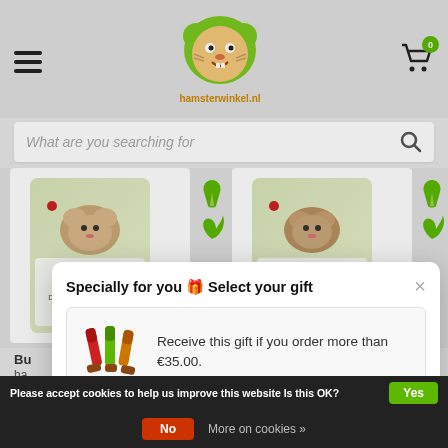[Figure (screenshot): Website header with hamburger menu, animal store logo (hamsterwinkel), and shopping cart icon with badge showing 0]
[Figure (screenshot): Search bar with placeholder text 'What are you searching for' and search icon]
[Figure (photo): Two Bunny brand hamster food product packages (Dwarf Hamster Dreams) shown side by side]
Bu
ha
€7.99
€8.99  €7.99
[Figure (screenshot): Modal popup: Specially for you 🎁 Select your gift — Receive this gift if you order more than €35.00. Shows image of colourful pet treat sticks.]
Please accept cookies to help us improve this website Is this OK?
Yes
No
More on cookies »